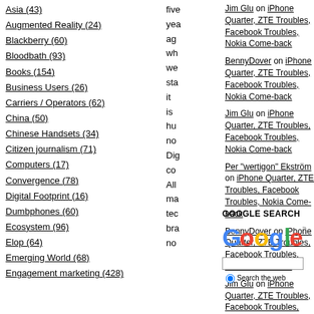Asia (43)
Augmented Reality (24)
Blackberry (60)
Bloodbath (93)
Books (154)
Business Users (26)
Carriers / Operators (62)
China (50)
Chinese Handsets (34)
Citizen journalism (71)
Computers (17)
Convergence (78)
Digital Footprint (16)
Dumbphones (60)
Ecosystem (96)
Elop (64)
Emerging World (68)
Engagement marketing (428)
five ye ag wh we sta it is hu no Dig co All ma tec bre no
Jim Glu on iPhone Quarter, ZTE Troubles, Facebook Troubles, Nokia Come-back
BennyDover on iPhone Quarter, ZTE Troubles, Facebook Troubles, Nokia Come-back
Jim Glu on iPhone Quarter, ZTE Troubles, Facebook Troubles, Nokia Come-back
Per "wertigon" Ekström on iPhone Quarter, ZTE Troubles, Facebook Troubles, Nokia Come-back
BennyDover on iPhone Quarter, ZTE Troubles, Facebook Troubles, Nokia Come-back
Jim Glu on iPhone Quarter, ZTE Troubles, Facebook Troubles, Nokia Come-back
GOOGLE SEARCH
[Figure (logo): Google logo in multicolor text]